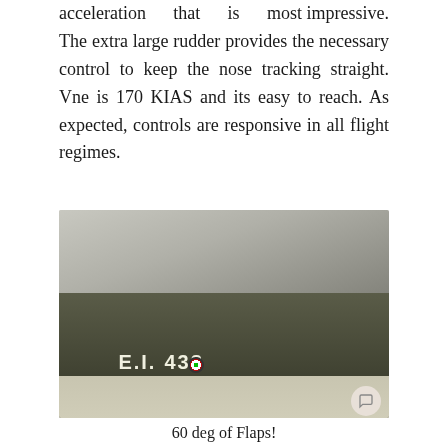acceleration that is most impressive. The extra large rudder provides the necessary control to keep the nose tracking straight. Vne is 170 KIAS and its easy to reach. As expected, controls are responsive in all flight regimes.
[Figure (photo): Underside view of a military aircraft fuselage with olive drab paint, marked 'E.I. 438' with Italian roundel, parked on tarmac with wing struts and cockpit visible]
60 deg of Flaps!